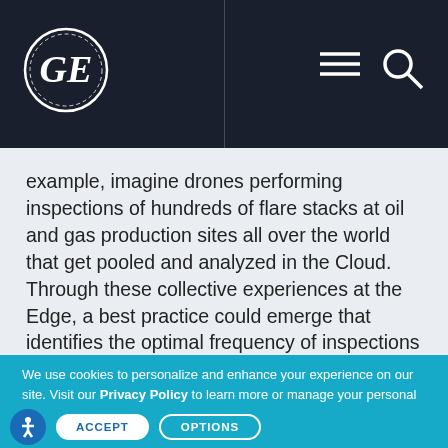[Figure (logo): GE (General Electric) circular logo in white on dark navy header bar]
example, imagine drones performing inspections of hundreds of flare stacks at oil and gas production sites all over the world that get pooled and analyzed in the Cloud. Through these collective experiences at the Edge, a best practice could emerge that identifies the optimal frequency of inspections that provides the earliest detection at the right cost point. This best practice can then be sent back down to individual
We use cookies to personalize and enhance your experience on our site. Visit our Privacy Policy to learn more or manage your personal preferences in our Cookie Consent Tool.